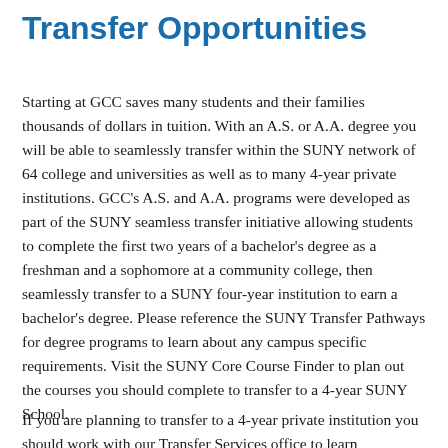Transfer Opportunities
Starting at GCC saves many students and their families thousands of dollars in tuition. With an A.S. or A.A. degree you will be able to seamlessly transfer within the SUNY network of 64 college and universities as well as to many 4-year private institutions. GCC's A.S. and A.A. programs were developed as part of the SUNY seamless transfer initiative allowing students to complete the first two years of a bachelor's degree as a freshman and a sophomore at a community college, then seamlessly transfer to a SUNY four-year institution to earn a bachelor's degree. Please reference the SUNY Transfer Pathways for degree programs to learn about any campus specific requirements. Visit the SUNY Core Course Finder to plan out the courses you should complete to transfer to a 4-year SUNY School.
If you are planning to transfer to a 4-year private institution you should work with our Transfer Services office to learn